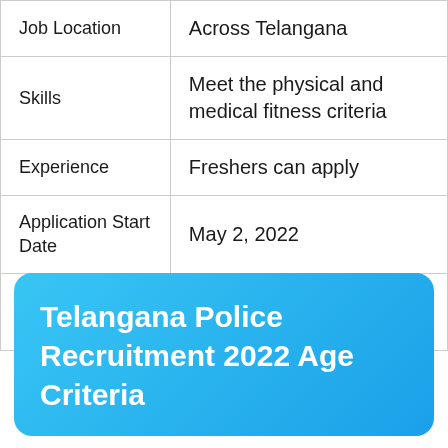| Job Location | Across Telangana |
| Skills | Meet the physical and medical fitness criteria |
| Experience | Freshers can apply |
| Application Start Date | May 2, 2022 |
| Application End Date | May 20, 2022 |
Telangana Police Recruitment 2022 Age Criteria